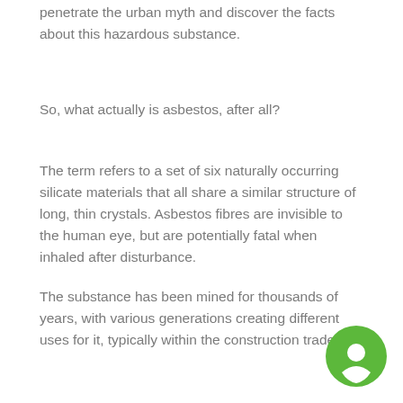penetrate the urban myth and discover the facts about this hazardous substance.
So, what actually is asbestos, after all?
The term refers to a set of six naturally occurring silicate materials that all share a similar structure of long, thin crystals. Asbestos fibres are invisible to the human eye, but are potentially fatal when inhaled after disturbance.
The substance has been mined for thousands of years, with various generations creating different uses for it, typically within the construction trade.
[Figure (illustration): Green circle chat bubble icon in the bottom-right corner]